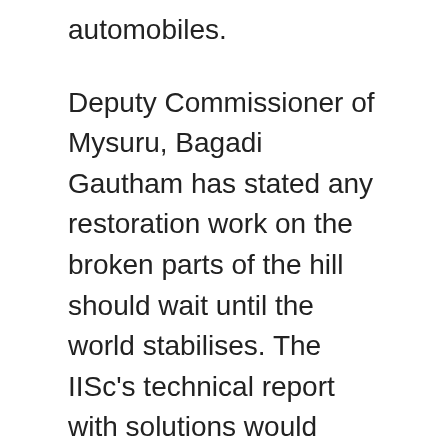automobiles.
Deputy Commissioner of Mysuru, Bagadi Gautham has stated any restoration work on the broken parts of the hill should wait until the world stabilises. The IISc's technical report with solutions would even be prepared by then.
A panel from the Establishment of Engineers, the nationwide organisation of engineers, headed by SG Sudhir Vombatkere has submitted a technical report back to Gautham.
The report has many solutions, together with delinking the motorable highway after a sure